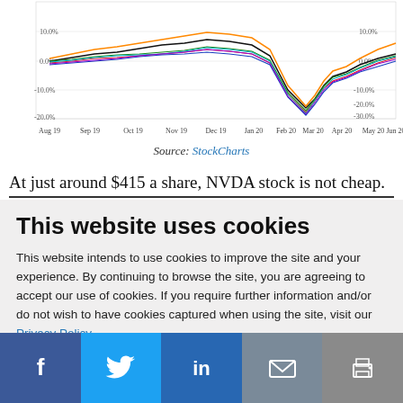[Figure (line-chart): Multi-line stock performance chart showing NVDA and other stocks from Aug 19 to Jun 20, with y-axis ranging from -30.0% to 10.0%]
Source: StockCharts
At just around $415 a share, NVDA stock is not cheap.
This website uses cookies
This website intends to use cookies to improve the site and your experience. By continuing to browse the site, you are agreeing to accept our use of cookies. If you require further information and/or do not wish to have cookies captured when using the site, visit our Privacy Policy.
ACCEPT COOKIES